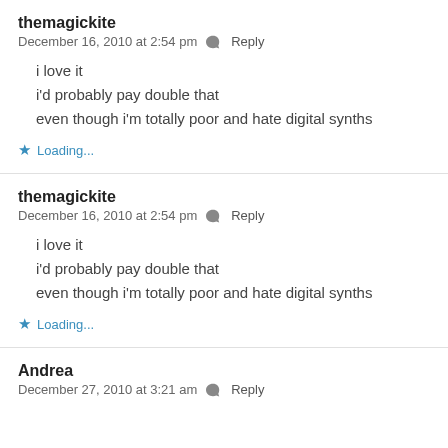themagickite
December 16, 2010 at 2:54 pm  Reply
i love it
i'd probably pay double that
even though i'm totally poor and hate digital synths
★ Loading...
themagickite
December 16, 2010 at 2:54 pm  Reply
i love it
i'd probably pay double that
even though i'm totally poor and hate digital synths
★ Loading...
Andrea
December 27, 2010 at 3:21 am  Reply